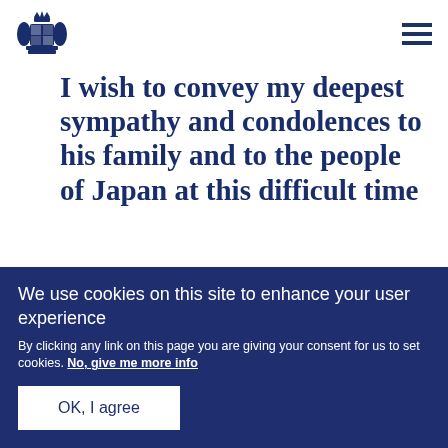[Figure (logo): UK Government Royal Coat of Arms logo in dark blue]
I wish to convey my deepest sympathy and condolences to his family and to the people of Japan at this difficult time
We use cookies on this site to enhance your user experience
By clicking any link on this page you are giving your consent for us to set cookies. No, give me more info
OK, I agree